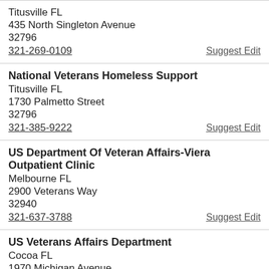Titusville FL
435 North Singleton Avenue
32796
321-269-0109
Suggest Edit
National Veterans Homeless Support
Titusville FL
1730 Palmetto Street
32796
321-385-9222
Suggest Edit
US Department Of Veteran Affairs-Viera Outpatient Clinic
Melbourne FL
2900 Veterans Way
32940
321-637-3788
Suggest Edit
US Veterans Affairs Department
Cocoa FL
1970 Michigan Avenue